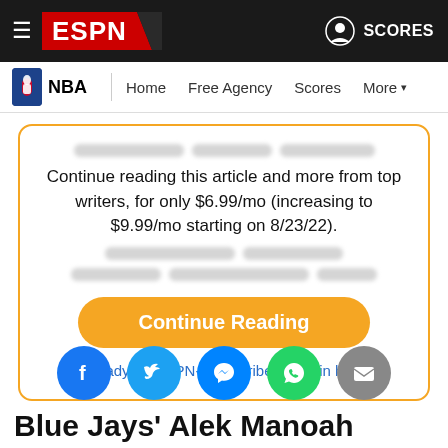ESPN — NBA | Home  Free Agency  Scores  More
Continue reading this article and more from top writers, for only $6.99/mo (increasing to $9.99/mo starting on 8/23/22).
Continue Reading
Already an ESPN+ subscriber? Log in here.
[Figure (infographic): Social share icons: Facebook, Twitter, Messenger, WhatsApp, Email]
Blue Jays' Alek Manoah challenges